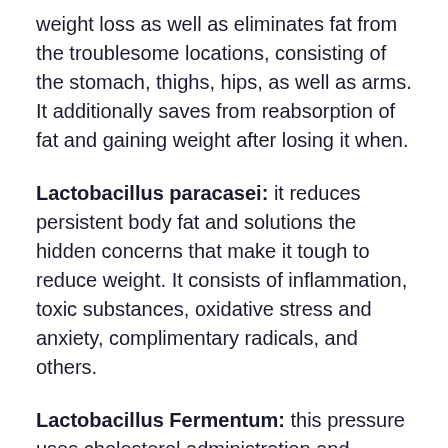weight loss as well as eliminates fat from the troublesome locations, consisting of the stomach, thighs, hips, as well as arms. It additionally saves from reabsorption of fat and gaining weight after losing it when.
Lactobacillus paracasei: it reduces persistent body fat and solutions the hidden concerns that make it tough to reduce weight. It consists of inflammation, toxic substances, oxidative stress and anxiety, complimentary radicals, and others.
Lactobacillus Fermentum: this pressure uses cholesterol administration and immunological advantages, straight affecting digestive wellness. It also saves from respiratory system infections and also kidney and liver diseases.